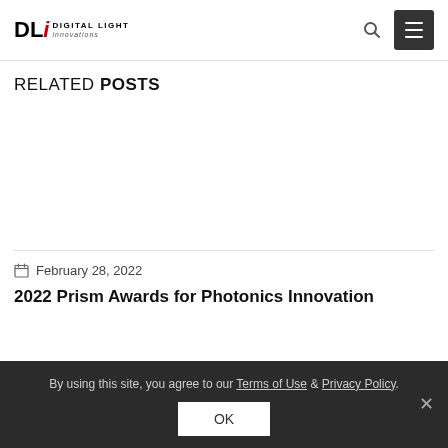DLi Digital Light Innovations
RELATED POSTS
February 28, 2022
2022 Prism Awards for Photonics Innovation
By using this site, you agree to our Terms of Use & Privacy Policy. OK